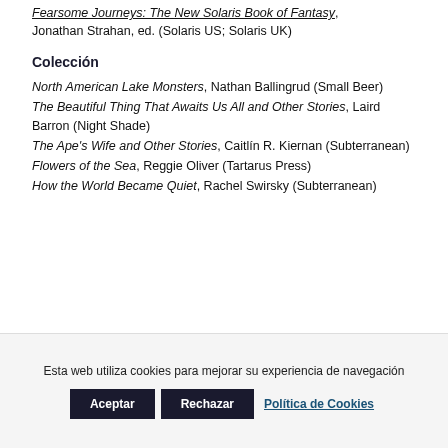Fearsome Journeys: The New Solaris Book of Fantasy, Jonathan Strahan, ed. (Solaris US; Solaris UK)
Colección
North American Lake Monsters, Nathan Ballingrud (Small Beer)
The Beautiful Thing That Awaits Us All and Other Stories, Laird Barron (Night Shade)
The Ape's Wife and Other Stories, Caitlín R. Kiernan (Subterranean)
Flowers of the Sea, Reggie Oliver (Tartarus Press)
How the World Became Quiet, Rachel Swirsky (Subterranean)
Esta web utiliza cookies para mejorar su experiencia de navegación
Aceptar | Rechazar | Política de Cookies